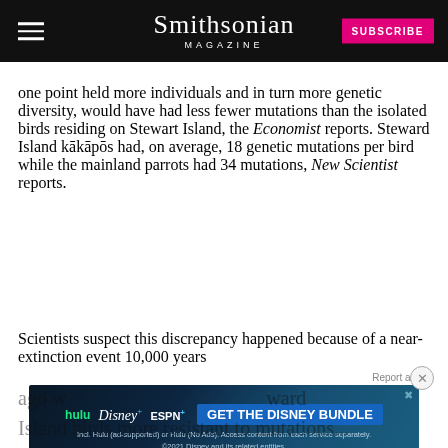Smithsonian MAGAZINE | SUBSCRIBE
one point held more individuals and in turn more genetic diversity, would have had less fewer mutations than the isolated birds residing on Stewart Island, the Economist reports. Steward Island kākāpōs had, on average, 18 genetic mutations per bird while the mainland parrots had 34 mutations, New Scientist reports.
Scientists suspect this discrepancy happened because of a near-extinction event 10,000 years ago w... main... ward Island birds more resistant to mutations...
[Figure (other): Disney Bundle advertisement banner showing Hulu, Disney+, ESPN+ logos with GET THE DISNEY BUNDLE call to action]